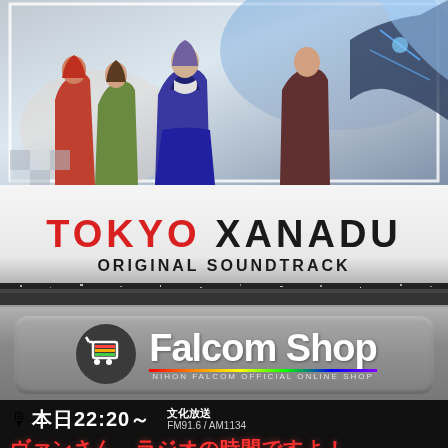[Figure (illustration): Anime key art showing several characters in dynamic poses against a stylized background with light effects. Characters include a girl in school uniform, characters in various outfits including green jacket, red jacket. Action-oriented composition.]
TOKYO XANADU ORIGINAL SOUNDTRACK
[Figure (logo): Falcom Shop logo - shopping cart icon with rainbow-colored bags, white text 'Falcom Shop' on gray rounded rectangle background. Subtitle: NIHON FALCOM OFFICIAL ONLINE SHOP]
🎙 本日22:20～ 文化放送 FM91.6 / AM1134
ヴァンさん、ラジオの時間ですよ！